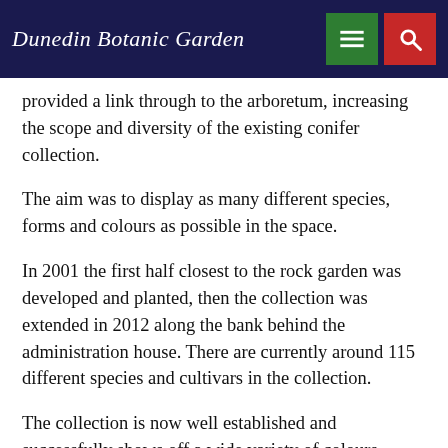Dunedin Botanic Garden
provided a link through to the arboretum, increasing the scope and diversity of the existing conifer collection.
The aim was to display as many different species, forms and colours as possible in the space.
In 2001 the first half closest to the rock garden was developed and planted, then the collection was extended in 2012 along the bank behind the administration house. There are currently around 115 different species and cultivars in the collection.
The collection is now well established and successfully shows off a wide variety of colours, shapes and textures with scattered clumps of…